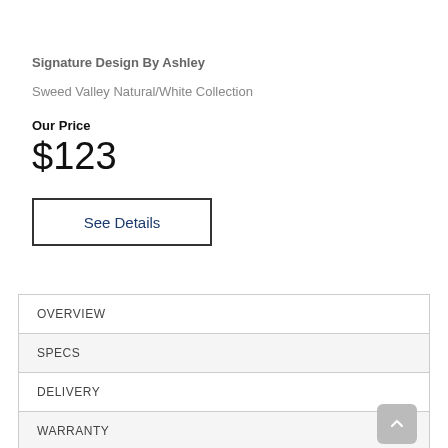Signature Design By Ashley
Sweed Valley Natural/White Collection
Our Price
$123
See Details
| OVERVIEW |
| SPECS |
| DELIVERY |
| WARRANTY |
|  |